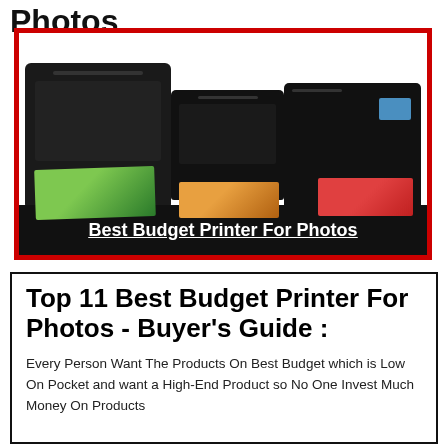Photos
[Figure (photo): Three black printers shown: a large Canon printer on left outputting a green landscape photo, a small Canon printer in center outputting a colorful page, and an HP all-in-one printer on right outputting a red photo. Red border surrounds the image with a black banner at bottom reading 'Best Budget Printer For Photos'.]
Top 11 Best Budget Printer For Photos - Buyer's Guide :
Every Person Want The Products On Best Budget which is Low On Pocket and want a High-End Product so No One Invest Much Money On Products